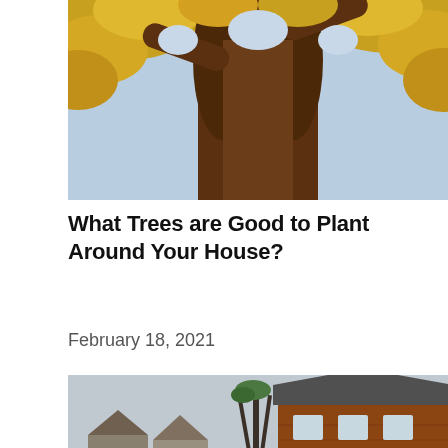[Figure (photo): Upward view of a large tree trunk with autumn yellow leaves against a bright sky]
What Trees are Good to Plant Around Your House?
February 18, 2021
[Figure (photo): Flooded residential street with sandbags in foreground, rescue workers in orange vests on a boat, and a brick house in the background surrounded by trees]